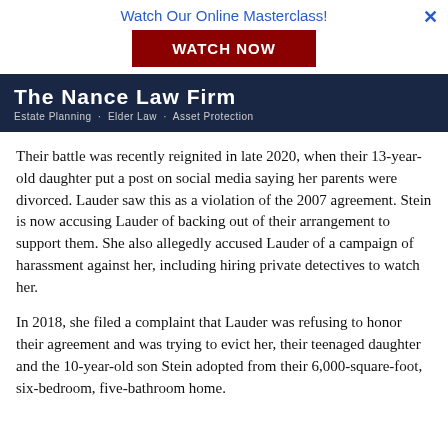Watch Our Online Masterclass! WATCH NOW
[Figure (logo): The Nance Law Firm logo with dark navy background. Text: THE NANCE LAW FIRM, Estate Planning · Elder Law · Asset Protection]
Their battle was recently reignited in late 2020, when their 13-year-old daughter put a post on social media saying her parents were divorced. Lauder saw this as a violation of the 2007 agreement. Stein is now accusing Lauder of backing out of their arrangement to support them. She also allegedly accused Lauder of a campaign of harassment against her, including hiring private detectives to watch her.
In 2018, she filed a complaint that Lauder was refusing to honor their agreement and was trying to evict her, their teenaged daughter and the 10-year-old son Stein adopted from their 6,000-square-foot, six-bedroom, five-bathroom home.